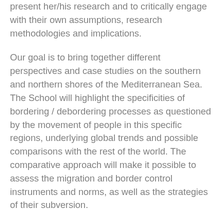present her/his research and to critically engage with their own assumptions, research methodologies and implications.
Our goal is to bring together different perspectives and case studies on the southern and northern shores of the Mediterranean Sea. The School will highlight the specificities of bordering / debordering processes as questioned by the movement of people in this specific regions, underlying global trends and possible comparisons with the rest of the world. The comparative approach will make it possible to assess the migration and border control instruments and norms, as well as the strategies of their subversion.